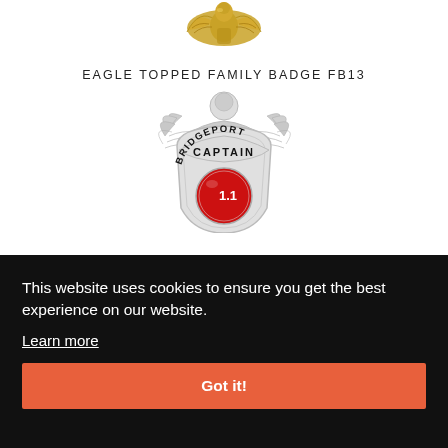[Figure (photo): Partial view of a gold eagle topped family badge, showing just the top eagle ornament portion, cropped at top of page.]
EAGLE TOPPED FAMILY BADGE FB13
[Figure (photo): Silver eagle topped badge for Captain Bridgeport with a red enamel center medallion, partially cut off at bottom by cookie consent overlay.]
This website uses cookies to ensure you get the best experience on our website.
Learn more
Got it!